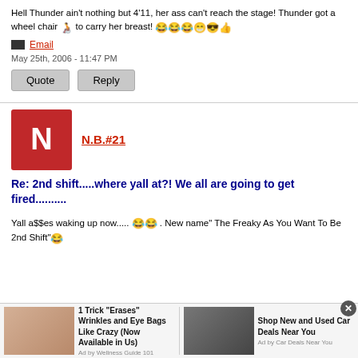Hell Thunder ain't nothing but 4'11, her ass can't reach the stage! Thunder got a wheel chair [emoji] to carry her breast! [emojis]
Email
May 25th, 2006 - 11:47 PM
Quote  Reply
N.B.#21
Re: 2nd shift.....where yall at?! We all are going to get fired..........
Yall a$$es waking up now..... [emojis] . New name" The Freaky As You Want To Be 2nd Shift" [emoji]
[Figure (infographic): Advertisement bar at bottom: left ad shows woman with text '1 Trick Erases Wrinkles and Eye Bags Like Crazy (Now Available in Us)' by Wellness Guide 101; right ad shows SUV with text 'Shop New and Used Car Deals Near You' by Car Deals Near You]